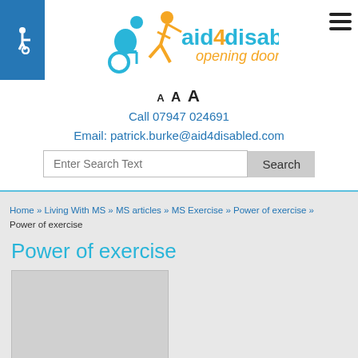[Figure (logo): aid4disabled logo with wheelchair and walking figure icons, blue and orange colors, tagline 'opening doors']
A A A
Call 07947 024691
Email: patrick.burke@aid4disabled.com
Enter Search Text  [Search]
Home » Living With MS » MS articles » MS Exercise » Power of exercise » Power of exercise
Power of exercise
[Figure (photo): Placeholder image area, light grey rectangle]